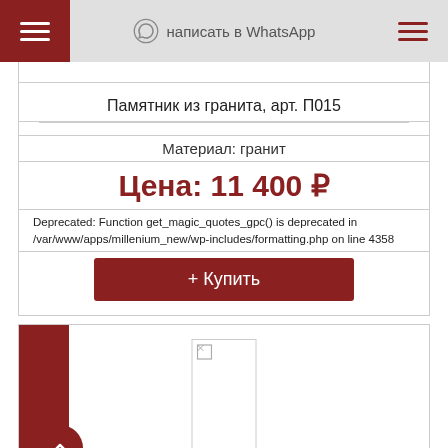написать в WhatsApp
Памятник из гранита, арт. П015
Материал: гранит
Цена: 11 400 ₽
Deprecated: Function get_magic_quotes_gpc() is deprecated in /var/www/apps/millenium_new/wp-includes/formatting.php on line 4358
+ Купить
[Figure (photo): Broken image placeholder for a product photo]